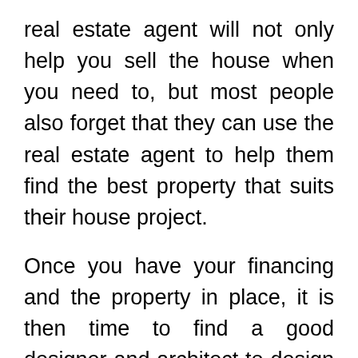real estate agent will not only help you sell the house when you need to, but most people also forget that they can use the real estate agent to help them find the best property that suits their house project.
Once you have your financing and the property in place, it is then time to find a good designer and architect to design the home that you want. The architect should be able to sketch your home and even have 3D renderings of the house so that you can be walked through the house a long time before it is actually built. This way, you can make any changes before